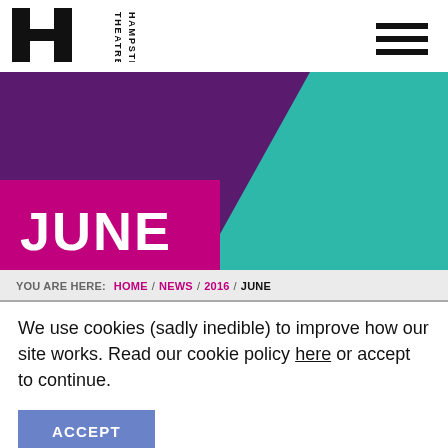[Figure (logo): Hampstead Theatre logo — stylized H with vertical bars and 'HAMPSTEAD THEATRE' text rotated sideways]
[Figure (illustration): Decorative banner with dark purple triangle/chevron shape on the left and teal/turquoise triangle on the right, with hot pink rectangle in lower left containing white bold text 'JUNE']
YOU ARE HERE:  HOME / NEWS / 2016 / JUNE
We use cookies (sadly inedible) to improve how our site works. Read our cookie policy here or accept to continue.
ACCEPT